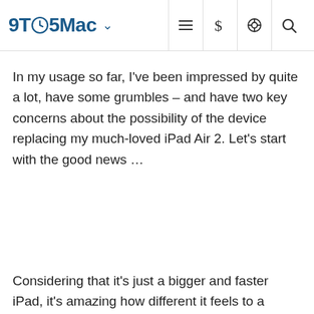9TO5Mac
In my usage so far, I've been impressed by quite a lot, have some grumbles – and have two key concerns about the possibility of the device replacing my much-loved iPad Air 2. Let's start with the good news …
Considering that it's just a bigger and faster iPad, it's amazing how different it feels to a standard iPad – even one